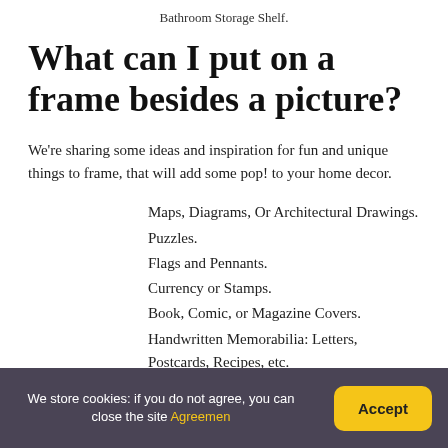Bathroom Storage Shelf.
What can I put on a frame besides a picture?
We're sharing some ideas and inspiration for fun and unique things to frame, that will add some pop! to your home decor.
Maps, Diagrams, Or Architectural Drawings.
Puzzles.
Flags and Pennants.
Currency or Stamps.
Book, Comic, or Magazine Covers.
Handwritten Memorabilia: Letters, Postcards, Recipes, etc.
Silhouettes.
We store cookies: if you do not agree, you can close the site Agreement